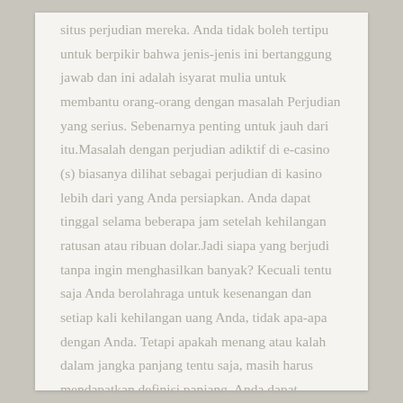situs perjudian mereka. Anda tidak boleh tertipu untuk berpikir bahwa jenis-jenis ini bertanggung jawab dan ini adalah isyarat mulia untuk membantu orang-orang dengan masalah Perjudian yang serius. Sebenarnya penting untuk jauh dari itu.Masalah dengan perjudian adiktif di e-casino (s) biasanya dilihat sebagai perjudian di kasino lebih dari yang Anda persiapkan. Anda dapat tinggal selama beberapa jam setelah kehilangan ratusan atau ribuan dolar.Jadi siapa yang berjudi tanpa ingin menghasilkan banyak? Kecuali tentu saja Anda berolahraga untuk kesenangan dan setiap kali kehilangan uang Anda, tidak apa-apa dengan Anda. Tetapi apakah menang atau kalah dalam jangka panjang tentu saja, masih harus mendapatkan definisi panjang. Anda dapat